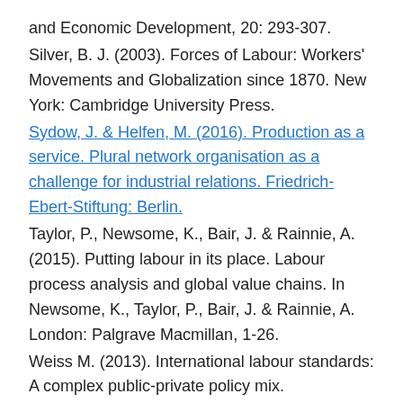and Economic Development, 20: 293-307.
Silver, B. J. (2003). Forces of Labour: Workers' Movements and Globalization since 1870. New York: Cambridge University Press.
Sydow, J. & Helfen, M. (2016). Production as a service. Plural network organisation as a challenge for industrial relations. Friedrich-Ebert-Stiftung: Berlin.
Taylor, P., Newsome, K., Bair, J. & Rainnie, A. (2015). Putting labour in its place. Labour process analysis and global value chains. In Newsome, K., Taylor, P., Bair, J. & Rainnie, A. London: Palgrave Macmillan, 1-26.
Weiss M. (2013). International labour standards: A complex public-private policy mix. International Journal of Comparative Labour Law and Industrial Relations, 29(1): 7-19.
Wright, C. & Kaine, S. (2015). Supply chains, production